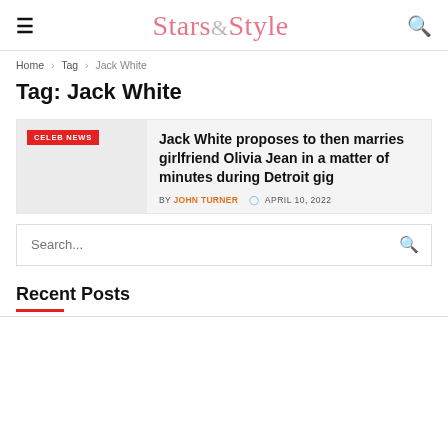Stars&Style
Home > Tag > Jack White
Tag: Jack White
CELEB NEWS
Jack White proposes to then marries girlfriend Olivia Jean in a matter of minutes during Detroit gig
BY JOHN TURNER  APRIL 10, 2022
Search...
Recent Posts